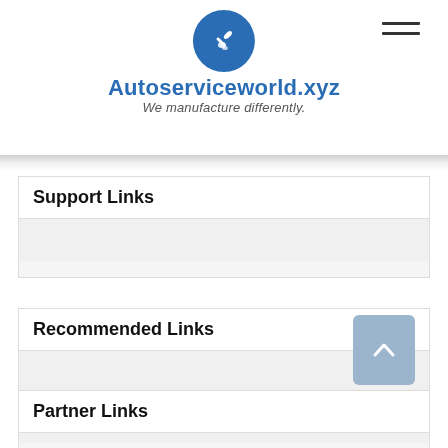[Figure (logo): Autoserviceworld.xyz logo with blue circle containing wrench/gear icon, site name in bold blue, tagline in italic gray: We manufacture differently.]
Support Links
Recommended Links
Partner Links